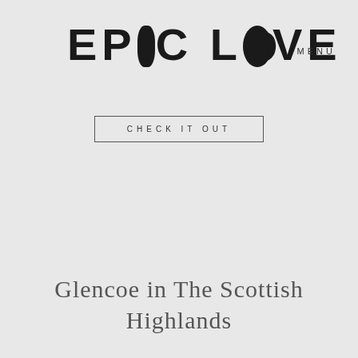EPIC LOVE
MENU
CHECK IT OUT
Glencoe in The Scottish Highlands